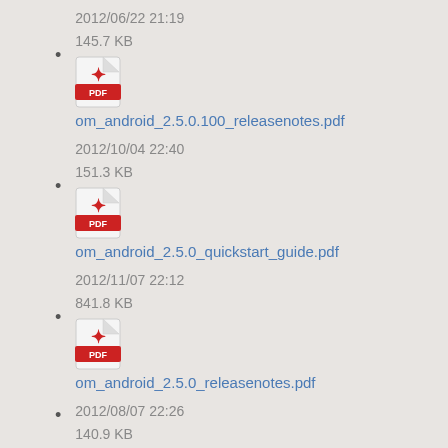2012/06/22 21:19
145.7 KB
om_android_2.5.0.100_releasenotes.pdf
2012/10/04 22:40
151.3 KB
om_android_2.5.0_quickstart_guide.pdf
2012/11/07 22:12
841.8 KB
om_android_2.5.0_releasenotes.pdf
2012/08/07 22:26
140.9 KB